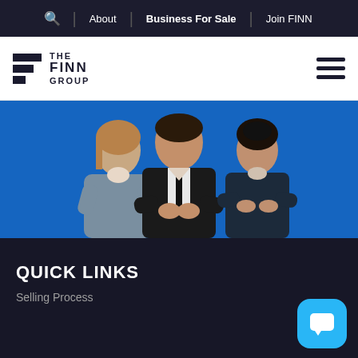About | Business For Sale | Join FINN
[Figure (logo): The Finn Group logo with black blocks and text reading THE FINN GROUP]
[Figure (photo): Three business professionals (two men and one woman) smiling with arms crossed against a blue background]
QUICK LINKS
Selling Process